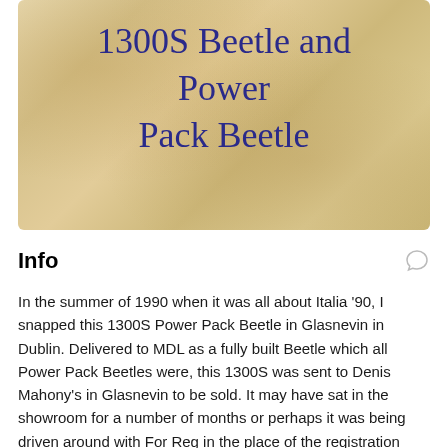[Figure (photo): Aged parchment/paper background with handwritten cursive text in blue ink reading '1300S Beetle and Power Pack Beetle']
Info
In the summer of 1990 when it was all about Italia '90, I snapped this 1300S Power Pack Beetle in Glasnevin in Dublin. Delivered to MDL as a fully built Beetle which all Power Pack Beetles were, this 1300S was sent to Denis Mahony's in Glasnevin to be sold. It may have sat in the showroom for a number of months or perhaps it was being driven around with For Reg in the place of the registration number until it was finally registered in May 1973.